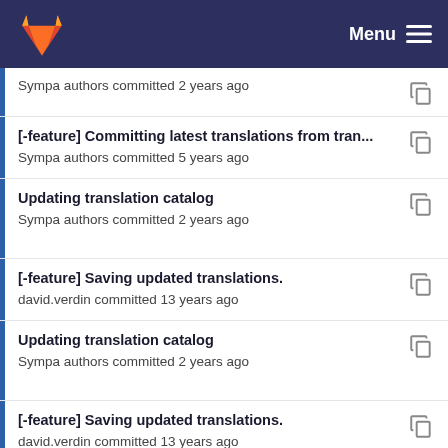GitLab Menu
Sympa authors committed 2 years ago
[-feature] Committing latest translations from tran... Sympa authors committed 5 years ago
Updating translation catalog Sympa authors committed 2 years ago
[-feature] Saving updated translations. david.verdin committed 13 years ago
Updating translation catalog Sympa authors committed 2 years ago
[-feature] Saving updated translations. david.verdin committed 13 years ago
Updating translation catalog Sympa authors committed 2 years ago